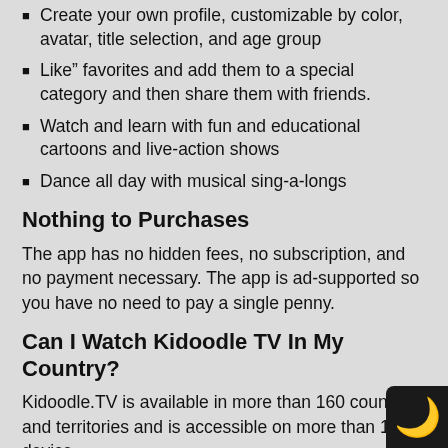Create your own profile, customizable by color, avatar, title selection, and age group
Like" favorites and add them to a special category and then share them with friends.
Watch and learn with fun and educational cartoons and live-action shows
Dance all day with musical sing-a-longs
Nothing to Purchases
The app has no hidden fees, no subscription, and no payment necessary. The app is ad-supported so you have no need to pay a single penny.
Can I Watch Kidoodle TV In My Country?
Kidoodle.TV is available in more than 160 countries and territories and is accessible on more than 1,000 device